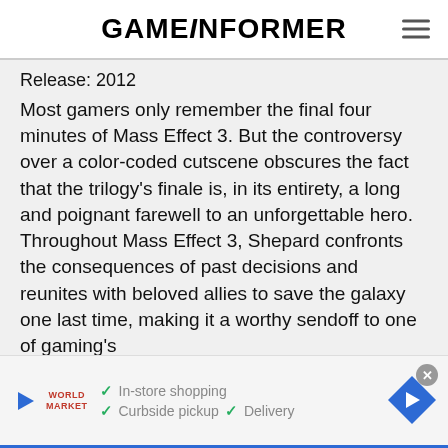GAMEINFORMER
Release: 2012
Most gamers only remember the final four minutes of Mass Effect 3. But the controversy over a color-coded cutscene obscures the fact that the trilogy’s finale is, in its entirety, a long and poignant farewell to an unforgettable hero. Throughout Mass Effect 3, Shepard confronts the consequences of past decisions and reunites with beloved allies to save the galaxy one last time, making it a worthy sendoff to one of gaming’s
[Figure (infographic): Advertisement banner with play button, World Market logo, checkmarks for In-store shopping, Curbside pickup, Delivery, and a blue diamond arrow icon]
SHARE   FOLLOW US